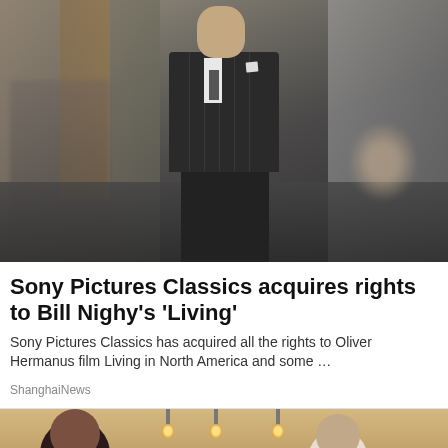[Figure (photo): A tall man in a dark pinstripe suit standing outdoors on a street, holding what appears to be a briefcase, with other figures partially visible in the background]
Sony Pictures Classics acquires rights to Bill Nighy's 'Living'
Sony Pictures Classics has acquired all the rights to Oliver Hermanus film Living in North America and some …
ShanghaiNews
[Figure (photo): Two people facing each other in a warmly lit room with hanging Edison bulbs visible in the background]